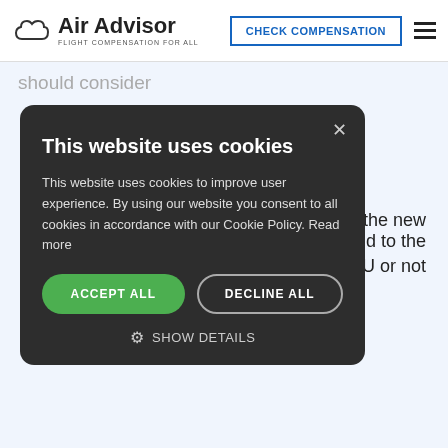Air Advisor — FLIGHT COMPENSATION FOR ALL | CHECK COMPENSATION
should consider
travel distance of the flight
...tion of the cancellation notice given to you
...the new ...d to the
...e EU or not
[Figure (screenshot): Cookie consent modal dialog with dark background. Title: 'This website uses cookies'. Body text: 'This website uses cookies to improve user experience. By using our website you consent to all cookies in accordance with our Cookie Policy. Read more'. Buttons: ACCEPT ALL (green), DECLINE ALL (outline). SHOW DETAILS option at bottom.]
This website uses cookies
This website uses cookies to improve user experience. By using our website you consent to all cookies in accordance with our Cookie Policy. Read more
ACCEPT ALL
DECLINE ALL
SHOW DETAILS